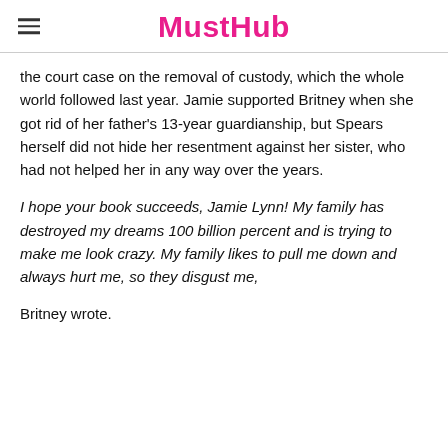MustHub
the court case on the removal of custody, which the whole world followed last year. Jamie supported Britney when she got rid of her father's 13-year guardianship, but Spears herself did not hide her resentment against her sister, who had not helped her in any way over the years.
I hope your book succeeds, Jamie Lynn! My family has destroyed my dreams 100 billion percent and is trying to make me look crazy. My family likes to pull me down and always hurt me, so they disgust me,
Britney wrote.